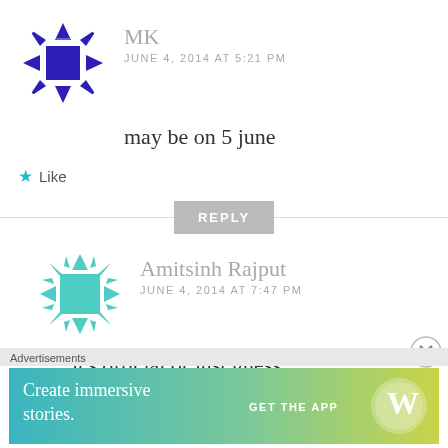[Figure (illustration): Blue and white geometric snowflake/mosaic avatar for user MK]
MK
JUNE 4, 2014 AT 5:21 PM
may be on 5 june
★ Like
REPLY
[Figure (illustration): Teal/cyan geometric snowflake/mosaic avatar for user Amitsinh Rajput]
Amitsinh Rajput
JUNE 4, 2014 AT 7:47 PM
it's official or just guess
Advertisements
[Figure (screenshot): Advertisement banner: 'Create immersive stories. GET THE APP' with WordPress logo, gradient teal-to-yellow-green background]